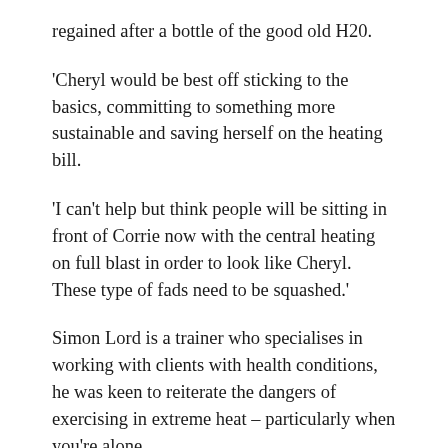regained after a bottle of the good old H20.
'Cheryl would be best off sticking to the basics, committing to something more sustainable and saving herself on the heating bill.
'I can't help but think people will be sitting in front of Corrie now with the central heating on full blast in order to look like Cheryl. These type of fads need to be squashed.'
Simon Lord is a trainer who specialises in working with clients with health conditions, he was keen to reiterate the dangers of exercising in extreme heat – particularly when you're alone.
'That degree of heat while exercising intensely is